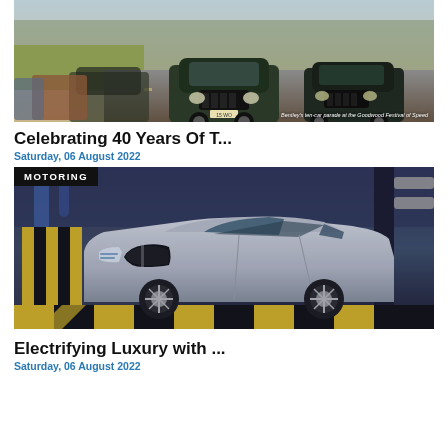[Figure (photo): Bentley cars in a ten-car parade at the Goodwood Festival of Speed, driving along a track with spectators in background]
Bentley's ten-car parade at the Goodwood Festival of Speed
Celebrating 40 Years Of T...
Saturday, 06 August 2022
MOTORING
[Figure (photo): Silver BMW 7 Series luxury sedan on a yellow and black striped factory floor, inside a production facility with blue lighting]
Electrifying Luxury with ...
Saturday, 06 August 2022